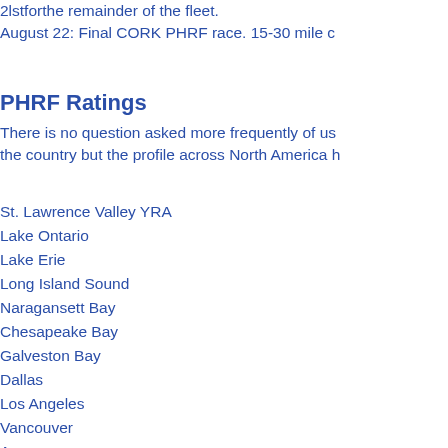2lstforthe remainder of the fleet. August 22: Final CORK PHRF race. 15-30 mile c
PHRF Ratings
There is no question asked more frequently of us the country but the profile across North America h
St. Lawrence Valley YRA
Lake Ontario
Lake Erie
Long Island Sound
Naragansett Bay
Chesapeake Bay
Galveston Bay
Dallas
Los Angeles
Vancouver
Average
It should be borne in mind that some of the low r unlikely that an average club sailor could sail to t given. O.J. is not your average sailor having won mention. In his first outings in the Laser 28 he wo Day. I am confident however, that over a season and the production boat for four years is that the Bay Cruising Association raised the Laser 28 to 1
News Snippets from Around the Country
Robert Dunkley of Nassau, Bahamas, took delive